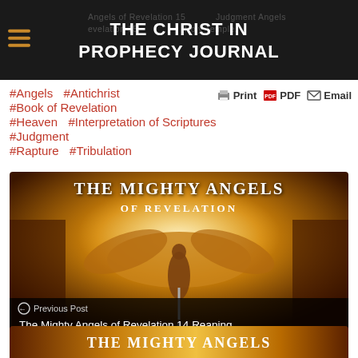THE CHRIST IN PROPHECY JOURNAL
#Angels  #Antichrist  #Book of Revelation  #Heaven  #Interpretation of Scriptures  #Judgment  #Rapture  #Tribulation
Print  PDF  Email
[Figure (photo): Book cover image showing THE MIGHTY ANGELS OF REVELATION title with a winged angel figure against a golden fiery background, with Previous Post caption: The Mighty Angels of Revelation 14 Reaping]
[Figure (photo): Bottom teaser image showing THE MIGHTY ANGELS text on a golden/brown background]